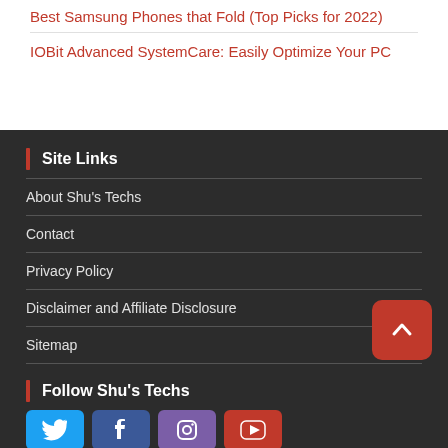Best Samsung Phones that Fold (Top Picks for 2022)
IOBit Advanced SystemCare: Easily Optimize Your PC
Site Links
About Shu's Techs
Contact
Privacy Policy
Disclaimer and Affiliate Disclosure
Sitemap
Follow Shu's Techs